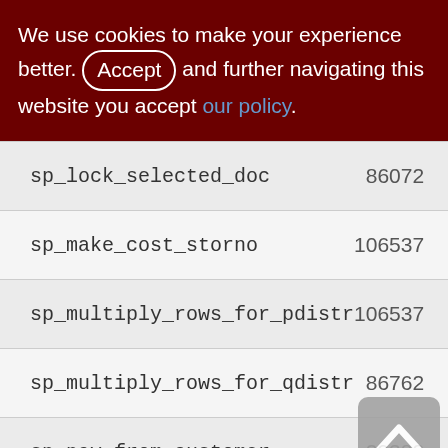We use cookies to make your experience better. By accepting and further navigating this website you accept our policy.
| Name | Col2 | Col3 |
| --- | --- | --- |
| sp_lock_selected_doc | 86072 | 744 |
| sp_make_cost_storno | 106537 | 1065 |
| sp_multiply_rows_for_pdistr | 106537 | 1065 |
| sp_multiply_rows_for_qdistr | 86762 | 867 |
| sp_pay_from_customer | 29388 | 293 |